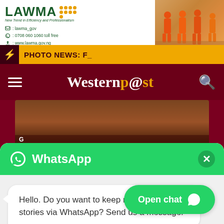[Figure (illustration): LAWMA advertisement banner: green logo with dot grid, contact info (lawma_gov, 0708 060 1060 toll free, www.lawma.gov.ng), slogan KEEPING LAGOS CLEAN!, photo of orange-uniformed workers on right]
PHOTO NEWS: F_
[Figure (logo): Western Post news website logo in white and gold serif font on dark red navigation bar with hamburger menu and search icon]
[Figure (photo): Partial news article image showing people in traditional attire, partially obscured by WhatsApp popup]
[Figure (screenshot): WhatsApp chat popup with green header, WhatsApp logo and name, close X button, white message bubble saying: Hello. Do you want to keep receiving our stories via WhatsApp? Send us a message!, and green Open chat button at bottom right]